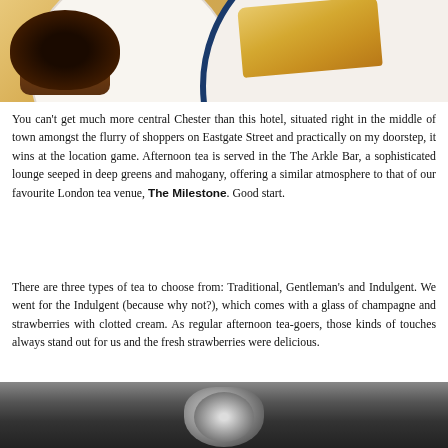[Figure (photo): Close-up photo of afternoon tea food items on white plates with blue and gold trim — a dark chocolate/caviar topped pastry on the left and a golden finger biscuit on the right, on a golden/cream background.]
You can't get much more central Chester than this hotel, situated right in the middle of town amongst the flurry of shoppers on Eastgate Street and practically on my doorstep, it wins at the location game. Afternoon tea is served in the The Arkle Bar, a sophisticated lounge seeped in deep greens and mahogany, offering a similar atmosphere to that of our favourite London tea venue, The Milestone. Good start.
There are three types of tea to choose from: Traditional, Gentleman's and Indulgent. We went for the Indulgent (because why not?), which comes with a glass of champagne and strawberries with clotted cream. As regular afternoon tea-goers, those kinds of touches always stand out for us and the fresh strawberries were delicious.
[Figure (photo): Black and white photo showing a close-up of a teapot, partially visible at the bottom of the page.]